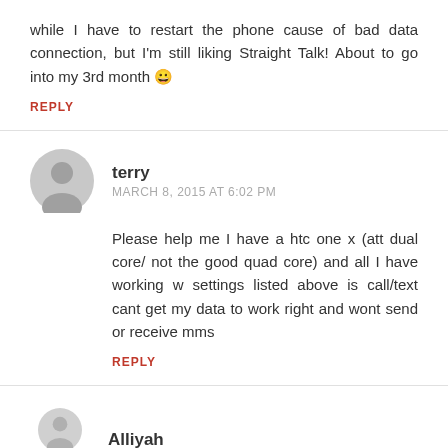while I have to restart the phone cause of bad data connection, but I'm still liking Straight Talk! About to go into my 3rd month 😀
REPLY
terry
MARCH 8, 2015 AT 6:02 PM
Please help me I have a htc one x (att dual core/ not the good quad core) and all I have working w settings listed above is call/text cant get my data to work right and wont send or receive mms
REPLY
Alliyah